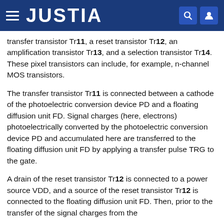JUSTIA
transfer transistor Tr11, a reset transistor Tr12, an amplification transistor Tr13, and a selection transistor Tr14. These pixel transistors can include, for example, n-channel MOS transistors.
The transfer transistor Tr11 is connected between a cathode of the photoelectric conversion device PD and a floating diffusion unit FD. Signal charges (here, electrons) photoelectrically converted by the photoelectric conversion device PD and accumulated here are transferred to the floating diffusion unit FD by applying a transfer pulse TRG to the gate.
A drain of the reset transistor Tr12 is connected to a power source VDD, and a source of the reset transistor Tr12 is connected to the floating diffusion unit FD. Then, prior to the transfer of the signal charges from the